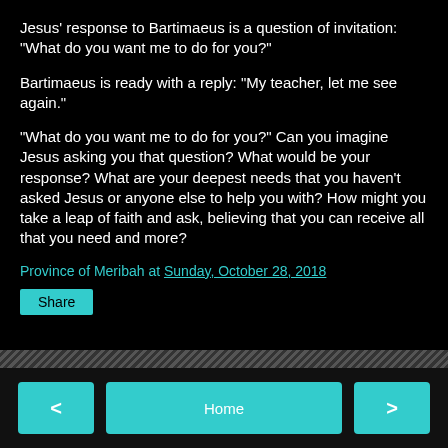Jesus' response to Bartimaeus is a question of invitation: "What do you want me to do for you?"
Bartimaeus is ready with a reply: "My teacher, let me see again."
"What do you want me to do for you?" Can you imagine Jesus asking you that question? What would be your response? What are your deepest needs that you haven't asked Jesus or anyone else to help you with? How might you take a leap of faith and ask, believing that you can receive all that you need and more?
Province of Meribah at Sunday, October 28, 2018
Share
< Home >